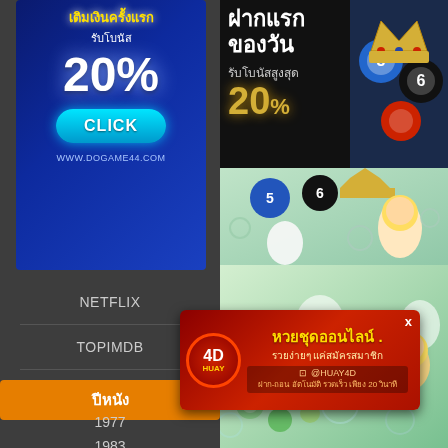[Figure (screenshot): dggame44.com advertisement banner showing 20% first deposit bonus with CLICK button on blue background]
NETFLIX
TOPIMDB
ปีหนัง
1977
1983
1986
1991  1992
1995  1997
1998  1999
ตัวอย่างหนัง ตอนที่ 9
[Figure (screenshot): Right side showing ฝากแรกของวัน รับโบนัสสูงสุด 20% deposit bonus advertisement with bingo/crown game graphics and anime illustration]
[Figure (screenshot): Popup advertisement for หวยชุดออนไลน์ (4D HUAY) - รวยง่ายๆ แค่สมัครสมาชิก ฝาก-ถอน อัตโนมัติ รวดเร็ว เพียง 20 วินาที]